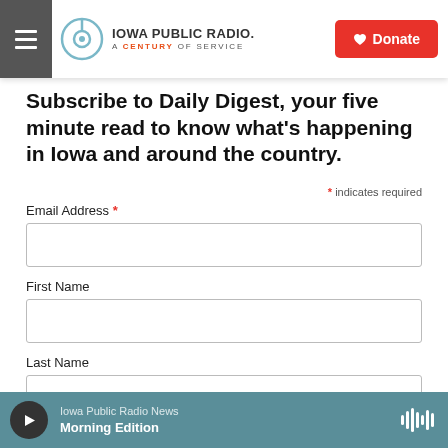Iowa Public Radio. A Century of Service. Donate.
Subscribe to Daily Digest, your five minute read to know what's happening in Iowa and around the country.
* indicates required
Email Address *
First Name
Last Name
Subscribe
Iowa Public Radio News Morning Edition